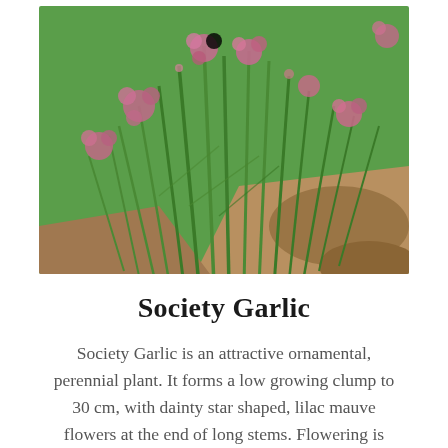[Figure (photo): Close-up photograph of Society Garlic plant showing tall narrow green stems with small pink/lilac star-shaped flowers clustered at the tops, growing in a garden bed with brown soil visible in the background.]
Society Garlic
Society Garlic is an attractive ornamental, perennial plant. It forms a low growing clump to 30 cm, with dainty star shaped, lilac mauve flowers at the end of long stems. Flowering is